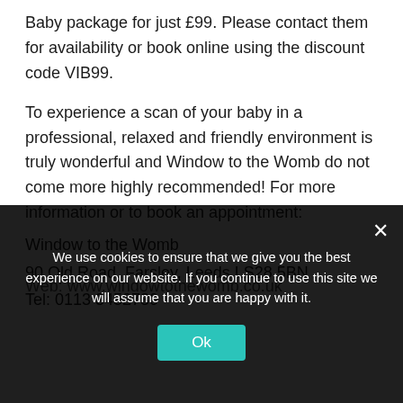Baby package for just £99. Please contact them for availability or book online using the discount code VIB99.
To experience a scan of your baby in a professional, relaxed and friendly environment is truly wonderful and Window to the Womb do not come more highly recommended! For more information or to book an appointment:
Window to the Womb
90 Old Road, Farsley, Leeds LS28 5BN
Tel: 0113 3452730
Web: www.windowtothewomb.co.uk
We use cookies to ensure that we give you the best experience on our website. If you continue to use this site we will assume that you are happy with it.
Ok